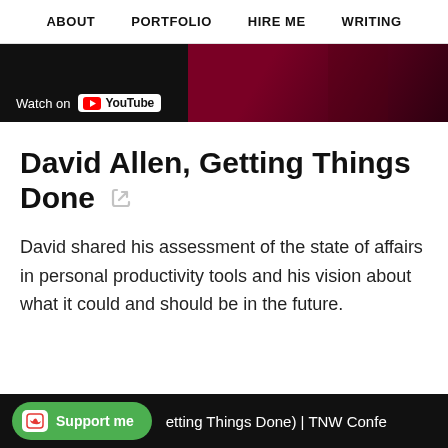ABOUT  PORTFOLIO  HIRE ME  WRITING
[Figure (screenshot): YouTube video thumbnail showing a speaker on stage with 'Watch on YouTube' overlay]
David Allen, Getting Things Done 🔗
David shared his assessment of the state of affairs in personal productivity tools and his vision about what it could and should be in the future.
[Figure (screenshot): Bottom bar showing 'Support me' Ko-fi button and partial text 'etting Things Done) | TNW Confe']